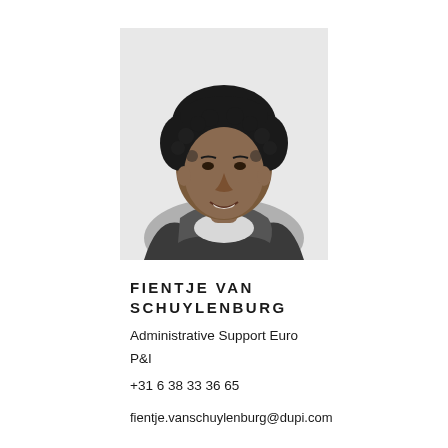[Figure (photo): Black and white professional headshot of Fientje van Schuylenburg, a woman with curly dark hair wearing a light top and dark scarf/jacket, smiling at the camera.]
FIENTJE VAN SCHUYLENBURG
Administrative Support Euro
P&I
+31 6 38 33 36 65
fientje.vanschuylenburg@dupi.com